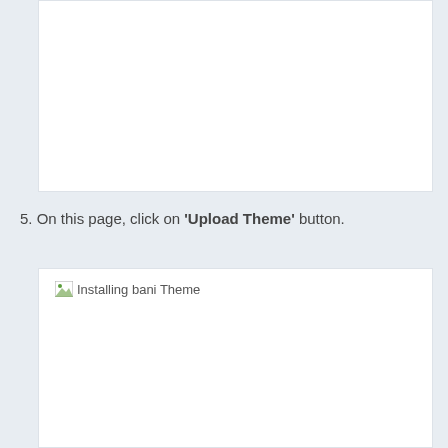[Figure (screenshot): Top white box area — portion of a screenshot (content not visible, appears blank/white)]
5. On this page, click on 'Upload Theme' button.
[Figure (screenshot): Bottom white box showing broken image placeholder labeled 'Installing bani Theme']